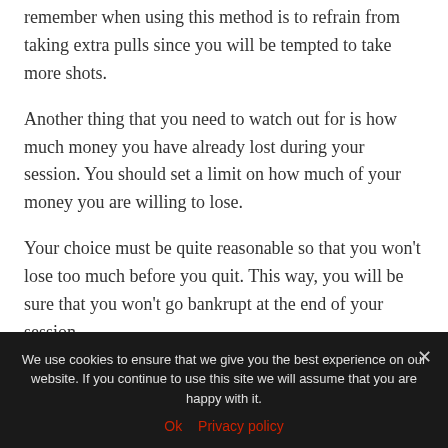remember when using this method is to refrain from taking extra pulls since you will be tempted to take more shots.
Another thing that you need to watch out for is how much money you have already lost during your session. You should set a limit on how much of your money you are willing to lose.
Your choice must be quite reasonable so that you won't lose too much before you quit. This way, you will be sure that you won't go bankrupt at the end of your session.
We use cookies to ensure that we give you the best experience on our website. If you continue to use this site we will assume that you are happy with it.
Ok   Privacy policy